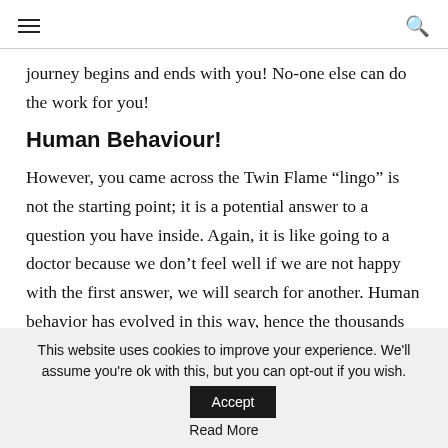[hamburger menu icon] [search icon]
journey begins and ends with you! No-one else can do the work for you!
Human Behaviour!
However, you came across the Twin Flame “lingo” is not the starting point; it is a potential answer to a question you have inside. Again, it is like going to a doctor because we don’t feel well if we are not happy with the first answer, we will search for another. Human behavior has evolved in this way, hence the thousands of offers available in the public
This website uses cookies to improve your experience. We’ll assume you’re ok with this, but you can opt-out if you wish. Accept
Read More